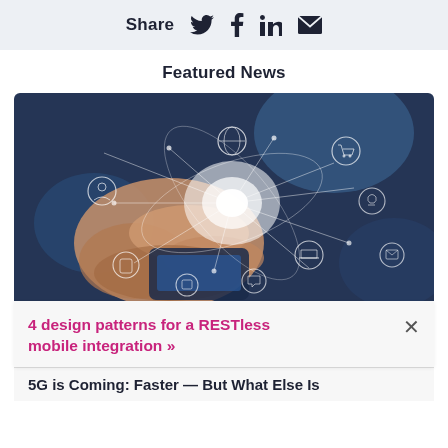Share
Featured News
[Figure (photo): Hand holding a smartphone with glowing digital network icons and connectivity lines overlaid — globe, shopping cart, phone, tablet, laptop, email, and other app icons connected by lines radiating from a bright light source.]
4 design patterns for a RESTless mobile integration »
5G is Coming: Faster — But What Else Is...